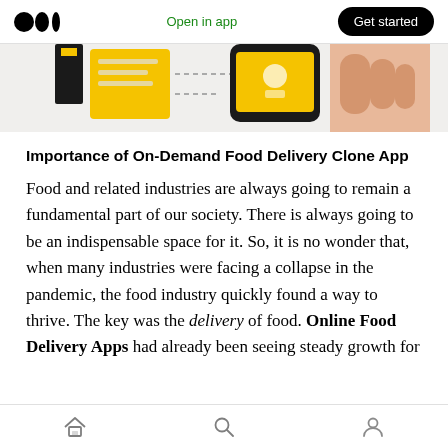Open in app  Get started
[Figure (illustration): Partial illustration showing food delivery app imagery with yellow notepad, dashed lines, smartphone, and a hand — cropped top portion of a larger article header image.]
Importance of On-Demand Food Delivery Clone App
Food and related industries are always going to remain a fundamental part of our society. There is always going to be an indispensable space for it. So, it is no wonder that, when many industries were facing a collapse in the pandemic, the food industry quickly found a way to thrive. The key was the delivery of food. Online Food Delivery Apps had already been seeing steady growth for
Home  Search  Profile